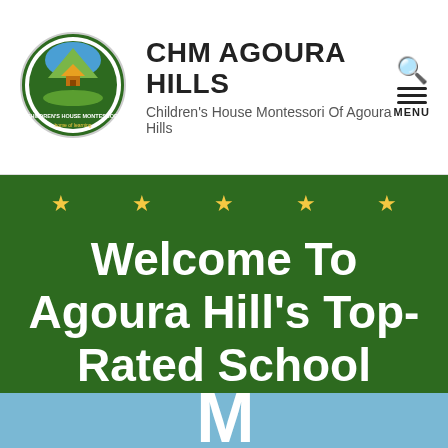[Figure (logo): Children's House Montessori circular logo with green and blue design]
CHM AGOURA HILLS
Children's House Montessori Of Agoura Hills
[Figure (illustration): Dark green banner with gold stars and white text reading: Welcome To Agoura Hill's Top-Rated School]
[Figure (photo): Classroom photo showing Montessori materials on shelves with pink letter tiles and a wicker basket. Large white letter M visible at bottom.]